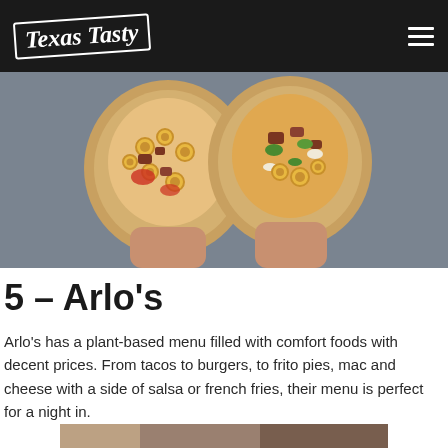Texas Tasty
[Figure (photo): A hand holding two burritos cut in half showing fillings including pasta, meat, vegetables, cheese, and salsa]
5 – Arlo's
Arlo's has a plant-based menu filled with comfort foods with decent prices. From tacos to burgers, to frito pies, mac and cheese with a side of salsa or french fries, their menu is perfect for a night in.
[Figure (photo): Partial view of food item being held, bottom of page]